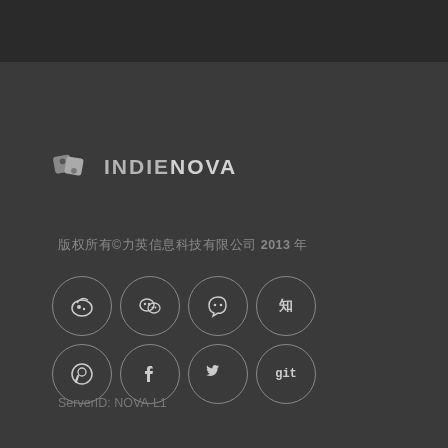[Figure (logo): IndieNova logo with geometric diamond icon and text INDIENOVA]
版权所有©力英信息科技有限公司 2013 年
[Figure (infographic): 8 social media icons in a 4x2 grid: Weibo, WeChat, Snapchat/QQ, Zhihu, Steam, Facebook, Twitter, GitHub]
ServerID: NOVA-L1